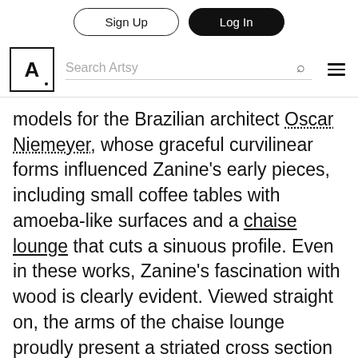Sign Up | Log In | Search Artsy
models for the Brazilian architect Oscar Niemeyer, whose graceful curvilinear forms influenced Zanine's early pieces, including small coffee tables with amoeba-like surfaces and a chaise lounge that cuts a sinuous profile. Even in these works, Zanine's fascination with wood is clearly evident. Viewed straight on, the arms of the chaise lounge proudly present a striated cross section of plywood, a nod to the materiality of the wood and the industrial